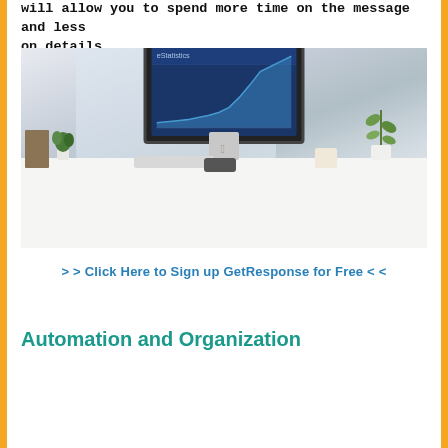will allow you to spend more time on the message and less on details.
[Figure (photo): A white iMac on a clean white desk with plants, books, keyboard, coffee cup, and a phone. The monitor displays a blue analytics chart with a rising trend.]
> > Click Here to Sign up GetResponse for Free < <
Automation and Organization